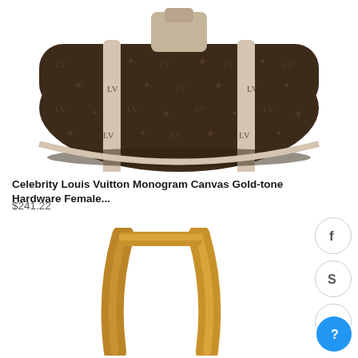[Figure (photo): Louis Vuitton monogram canvas handbag with light beige/cream leather trim straps, viewed from above/front angle against white background]
Celebrity Louis Vuitton Monogram Canvas Gold-tone Hardware Female...
$241.22
[Figure (photo): Close-up of gold-tone handles/straps of a Louis Vuitton handbag against white background]
[Figure (other): Facebook social share icon - grey circle with f letter]
[Figure (other): Skype icon - grey circle with S letter]
[Figure (other): Scroll to top arrow icon - grey circle with up chevron]
[Figure (other): Help/info icon - blue circle with question mark]